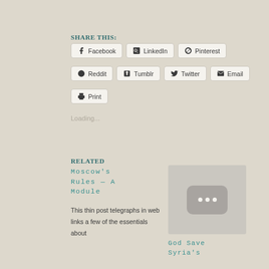Share this:
Facebook
LinkedIn
Pinterest
Reddit
Tumblr
Twitter
Email
Print
Loading...
Related
Moscow's Rules — A Module
This thin post telegraphs in web links a few of the essentials about
[Figure (other): Thumbnail image placeholder with three dots]
God Save Syria's